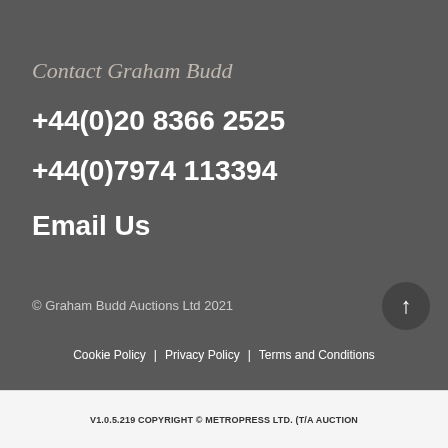Contact Graham Budd
+44(0)20 8366 2525
+44(0)7974 113394
Email Us
© Graham Budd Auctions Ltd 2021
Cookie Policy | Privacy Policy | Terms and Conditions
V1.0.5.219 COPYRIGHT © METROPRESS LTD. (T/A AUCTION